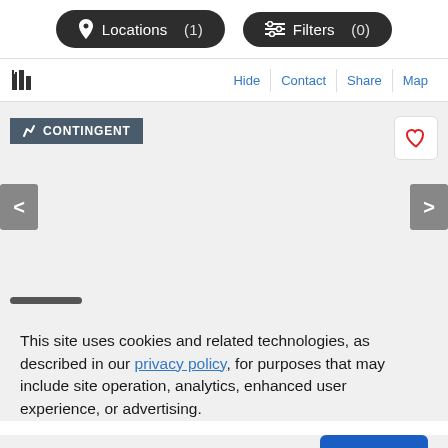[Figure (screenshot): Top navigation bar with Locations (1) and Filters (0) buttons]
[Figure (screenshot): Listing bar with logo, Hide, Contact, Share, Map action links]
[Figure (screenshot): Property image carousel area with CONTINGENT badge, heart/favorite button, left and right navigation arrows, and scroll indicator bar]
This site uses cookies and related technologies, as described in our privacy policy, for purposes that may include site operation, analytics, enhanced user experience, or advertising.
Manage Preferences   Accept